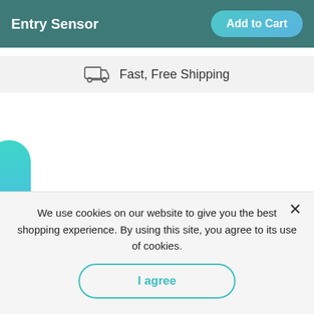Entry Sensor  Add to Cart
Fast, Free Shipping
GET $40
We use cookies on our website to give you the best shopping experience. By using this site, you agree to its use of cookies.
I agree